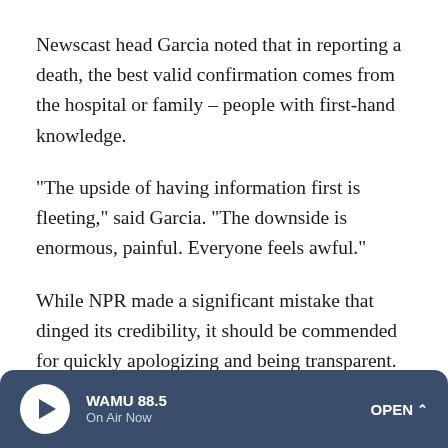Newscast head Garcia noted that in reporting a death, the best valid confirmation comes from the hospital or family – people with first-hand knowledge.
"The upside of having information first is fleeting," said Garcia. "The downside is enormous, painful. Everyone feels awful."
While NPR made a significant mistake that dinged its credibility, it should be commended for quickly apologizing and being transparent. Rather than hurting NPR's credibility, taking responsibility for the mistake should enhance it.
Unfortunately, however, many people will remember the
WAMU 88.5 On Air Now OPEN